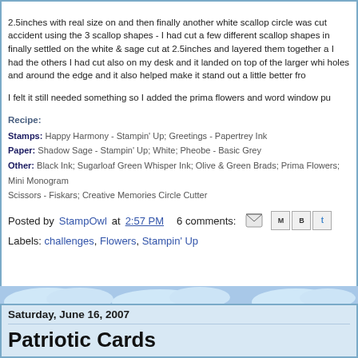2.5inches with real size on and then finally another white scallop circle was cut accident using the 3 scallop shapes - I had cut a few different scallop shapes in finally settled on the white & sage cut at 2.5inches and layered them together a I had the others I had cut also on my desk and it landed on top of the larger whi holes and around the edge and it also helped make it stand out a little better fro
I felt it still needed something so I added the prima flowers and word window pu
Recipe:
Stamps: Happy Harmony - Stampin' Up; Greetings - Papertrey Ink
Paper: Shadow Sage - Stampin' Up; White; Pheobe - Basic Grey
Other: Black Ink; Sugarloaf Green Whisper Ink; Olive & Green Brads; Prima Flowers; Mini Monogram Scissors - Fiskars; Creative Memories Circle Cutter
Posted by StampOwl at 2:57 PM   6 comments:
Labels: challenges, Flowers, Stampin' Up
Saturday, June 16, 2007
Patriotic Cards